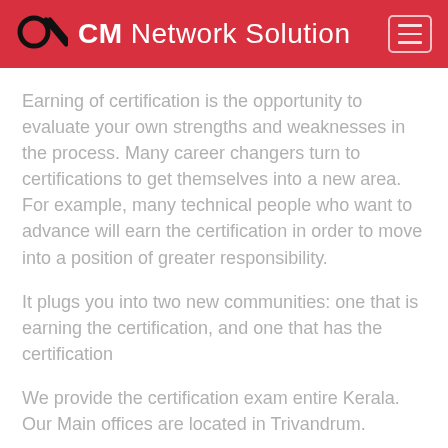CM Network Solution
Earning of certification is the opportunity to evaluate your own strengths and weaknesses in the process. Many career changers turn to certifications to get themselves into a new area. For example, many technical people who want to advance will earn the certification in order to move into a position of greater responsibility.
It plugs you into two new communities: one that is earning the certification, and one that has the certification
We provide the certification exam entire Kerala. Our Main offices are located in Trivandrum.